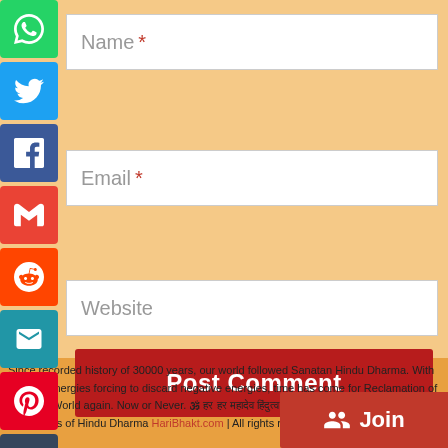[Figure (screenshot): Social media sharing icon bar on left: WhatsApp (green), Twitter (blue), Facebook (blue), Gmail (red), Reddit (orange), Email (teal), Pinterest (red), Tumblr (dark), LinkedIn (blue), More/Plus (blue)]
Name *
Email *
Website
Post Comment
Since recorded history of 30000 years, our world followed Sanatan Hindu Dharma. With positive energies forcing to discard negative energies, time has come for Reclamation of Sanatan World again. Now or Never. © 2001 - 202... Facts, Awareness of Hindu Dharma HariBhakt.com | All rights reser...